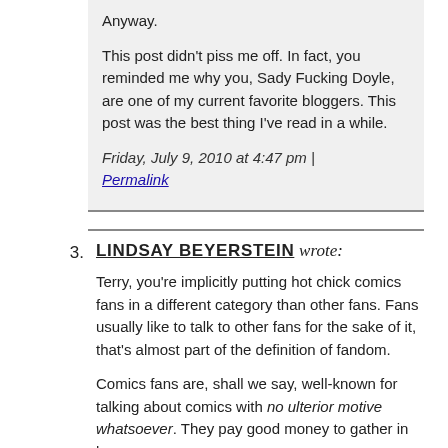Anyway.
This post didn't piss me off. In fact, you reminded me why you, Sady Fucking Doyle, are one of my current favorite bloggers. This post was the best thing I've read in a while.
Friday, July 9, 2010 at 4:47 pm | Permalink
3. LINDSAY BEYERSTEIN wrote:
Terry, you're implicitly putting hot chick comics fans in a different category than other fans. Fans usually like to talk to other fans for the sake of it, that's almost part of the definition of fandom.
Comics fans are, shall we say, well-known for talking about comics with no ulterior motive whatsoever. They pay good money to gather in large